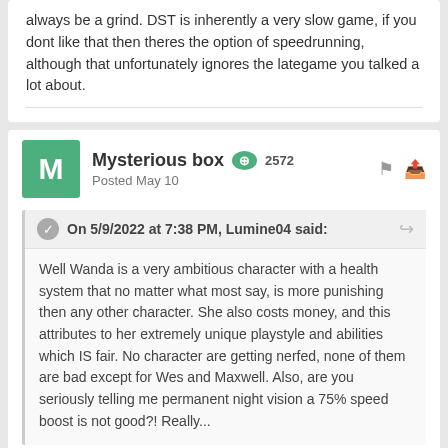always be a grind. DST is inherently a very slow game, if you dont like that then theres the option of speedrunning, although that unfortunately ignores the lategame you talked a lot about.
Mysterious box +2572 Posted May 10
On 5/9/2022 at 7:38 PM, Lumine04 said:
Well Wanda is a very ambitious character with a health system that no matter what most say, is more punishing then any other character. She also costs money, and this attributes to her extremely unique playstyle and abilities which IS fair. No character are getting nerfed, none of them are bad except for Wes and Maxwell. Also, are you seriously telling me permanent night vision a 75% speed boost is not good?! Really...
Idk I still find Walter alot more punishing than Wanda and even taking random players into account tend to see alot more Walter death than Wanda since by the time they get magic up combat is